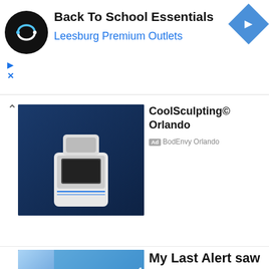[Figure (screenshot): Top advertisement banner for Back To School Essentials at Leesburg Premium Outlets, featuring a circular black logo with white infinity/loop symbol, navigation arrow icon, and ad/close controls]
Back To School Essentials
Leesburg Premium Outlets
[Figure (photo): CoolSculpting machine on blue background — medical body sculpting device]
CoolSculpting© Orlando
Ad BodEnvy Orlando
[Figure (photo): Doctor in white coat with stethoscope overlaid with blue financial chart showing upward trend]
My Last Alert saw 255% Gains
Ad The Wolf of Penny Stocks